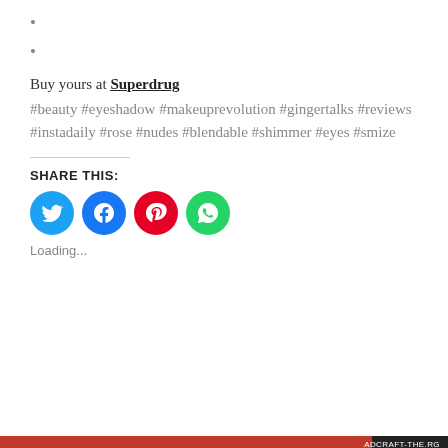•
•
Buy yours at Superdrug
#beauty #eyeshadow #makeuprevolution #gingertalks #reviews #instadaily #rose #nudes #blendable #shimmer #eyes #smize
SHARE THIS:
[Figure (infographic): Social share icons: Twitter (blue circle), Facebook (blue circle), Pinterest (red circle), WhatsApp (green circle)]
Loading...
Privacy & Cookies: This site uses cookies. By continuing to use this website, you agree to their use. To find out more, including how to control cookies, see here: Our Cookie Policy
Close and accept